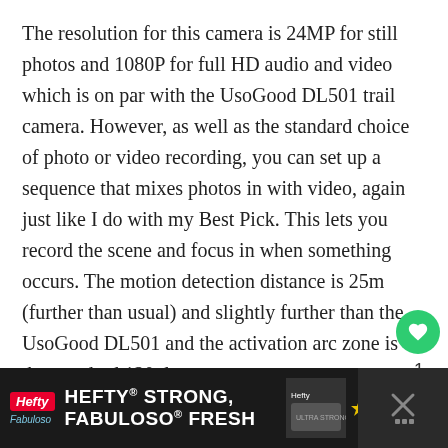The resolution for this camera is 24MP for still photos and 1080P for full HD audio and video which is on par with the UsoGood DL501 trail camera. However, as well as the standard choice of photo or video recording, you can set up a sequence that mixes photos in with video, again just like I do with my Best Pick. This lets you record the scene and focus in when something occurs. The motion detection distance is 25m (further than usual) and slightly further than the UsoGood DL501 and the activation arc zone is the standard 120 degrees.
[Figure (other): Green heart/like button icon, count of 1, and share button icons on the right side of the page]
[Figure (other): Advertisement banner at bottom: Hefty brand ad with text HEFTY STRONG, FABULOSO FRESH on dark background with product images and a close button]